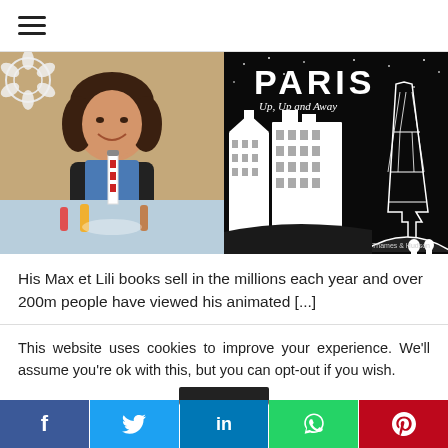≡
[Figure (photo): Left half: woman with curly dark hair smiling, seated at a table with a colorful pop-up beach scene diorama featuring a lighthouse and small figurines. Right half: book cover 'PARIS Up, Up and Away' by Thames & Hudson, showing white silhouette illustration of Paris buildings and Eiffel Tower against a dark night sky.]
His Max et Lili books sell in the millions each year and over 200m people have viewed his animated [...]
This website uses cookies to improve your experience. We'll assume you're ok with this, but you can opt-out if you wish.
f  t  in  WhatsApp  p